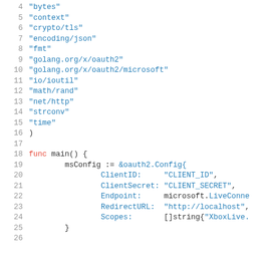Code listing showing Go import statements and main() function with oauth2 configuration: lines 4-26